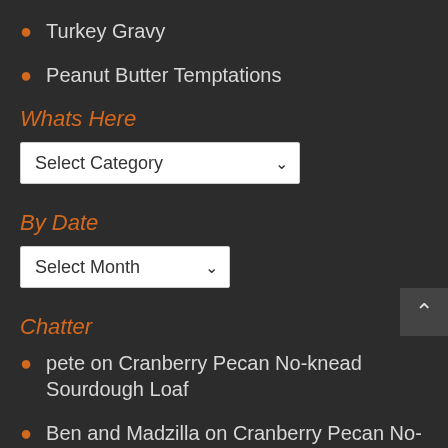Turkey Gravy
Peanut Butter Temptations
Whats Here
Select Category (dropdown)
By Date
Select Month (dropdown)
Chatter
pete on Cranberry Pecan No-knead Sourdough Loaf
Ben and Madzilla on Cranberry Pecan No-knead Sourdough Loaf